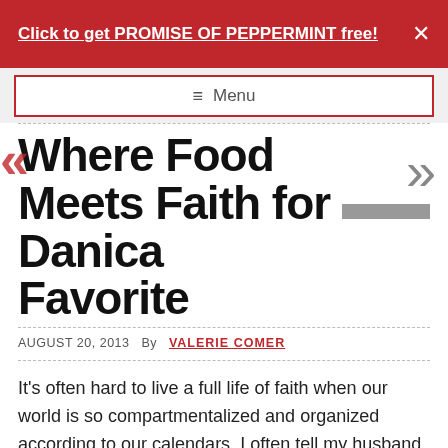Click to get PROMISE OF PEPPERMINT free!
≡  Menu
Where Food Meets Faith for Danica Favorite
AUGUST 20, 2013  By  VALERIE COMER
It's often hard to live a full life of faith when our world is so compartmentalized and organized according to our calendars. I often tell my husband that if it is not on the